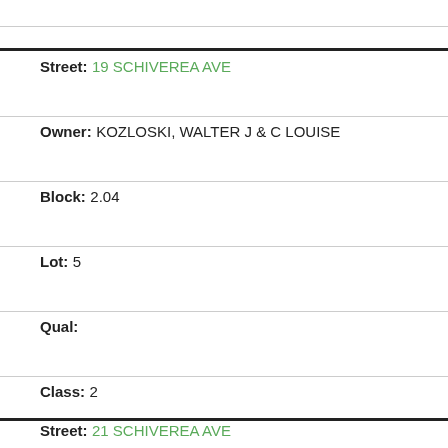Street: 19 SCHIVEREA AVE
Owner: KOZLOSKI, WALTER J & C LOUISE
Block: 2.04
Lot: 5
Qual:
Class: 2
Street: 21 SCHIVEREA AVE